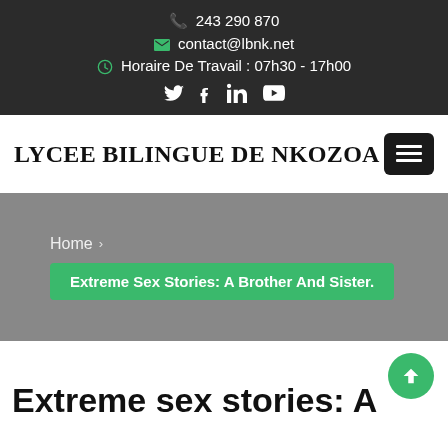243 290 870 | contact@lbnk.net | Horaire De Travail : 07h30 - 17h00
LYCEE BILINGUE DE NKOZOA
Home > Extreme Sex Stories: A Brother And Sister.
Extreme sex stories: A brother